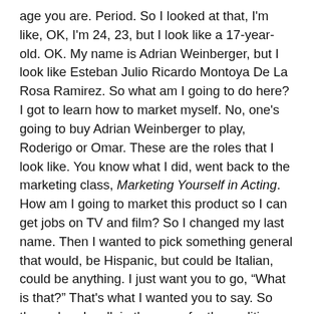age you are. Period. So I looked at that, I'm like, OK, I'm 24, 23, but I look like a 17-year-old. OK. My name is Adrian Weinberger, but I look like Esteban Julio Ricardo Montoya De La Rosa Ramirez. So what am I going to do here? I got to learn how to market myself. No, one's going to buy Adrian Weinberger to play, Roderigo or Omar. These are the roles that I look like. You know what I did, went back to the marketing class, Marketing Yourself in Acting. How am I going to market this product so I can get jobs on TV and film? So I changed my last name. Then I wanted to pick something general that would, be Hispanic, but could be Italian, could be anything. I just want you to go, “What is that?” That's what I wanted you to say. So then when I walk in the room for the audition, whatever accents I'm doing, you believed whatever I said I was. So if I said, “What do you want me to do? You want me to sit here? I do it for you. No problem. It's OK. I do it for you.” I'll be Middle Eastern. I'll be Palestinian. I'll be whatever it is that I'm auditioning for. And it's not, you're not necessarily lying...